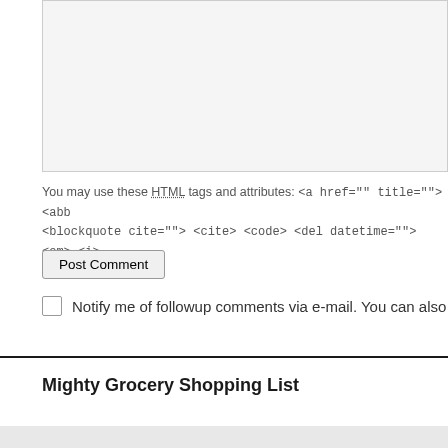[Figure (screenshot): Textarea input box with light gray background]
You may use these HTML tags and attributes: <a href="" title=""> <abb <blockquote cite=""> <cite> <code> <del datetime=""> <em> <i>
[Figure (screenshot): Post Comment button]
Notify me of followup comments via e-mail. You can also
Mighty Grocery Shopping List